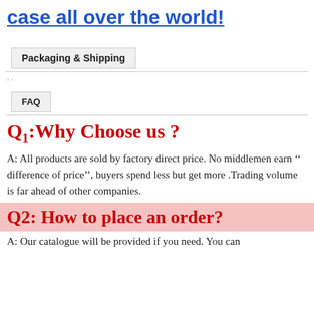case all over the world!
Packaging & Shipping
..
FAQ
Q1:Why Choose us ?
A: All products are sold by factory direct price. No middlemen earn '' difference of price'', buyers spend less but get more .Trading volume is far ahead of other companies.
Q2: How to place an order?
A: Our catalogue will be provided if you need. You can